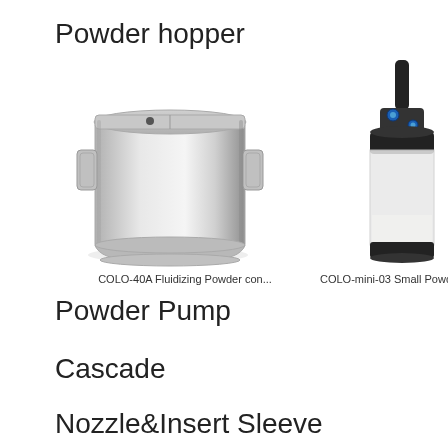Powder hopper
[Figure (photo): COLO-40A Fluidizing Powder container - a stainless steel cylindrical hopper with handles and a flat lid with holes]
COLO-40A Fluidizing Powder con...
[Figure (photo): COLO-mini-03 Small Powder cup - a small transparent cylindrical container with black top cap and pneumatic fitting attached by hose]
COLO-mini-03 Small Powder cu...
Powder Pump
Cascade
Nozzle&Insert Sleeve